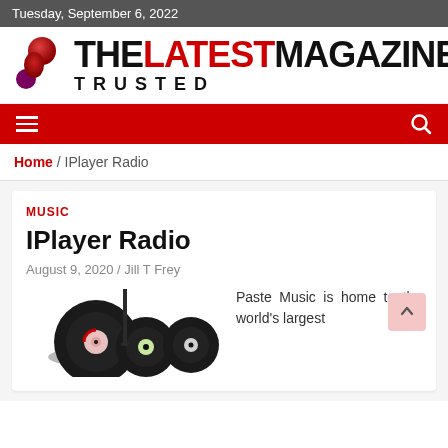Tuesday, September 6, 2022
[Figure (logo): The Latest Magazines Trusted logo with stylized S-shaped red/maroon icon and bold black text with LATEST in red]
Navigation bar with hamburger menu and search icon
Home / IPlayer Radio
MUSIC
IPlayer Radio
August 9, 2020 / Jill T Frey
[Figure (illustration): Vinyl records illustration]
Paste Music is home to the world's largest